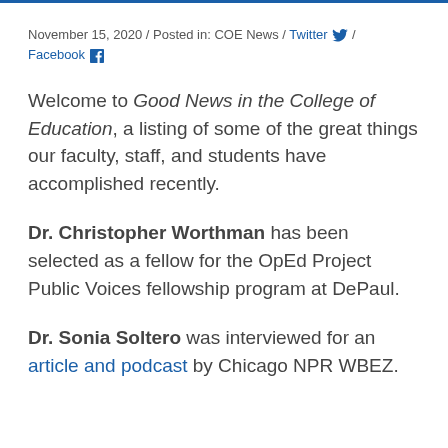November 15, 2020 / Posted in: COE News / Twitter / Facebook
Welcome to Good News in the College of Education, a listing of some of the great things our faculty, staff, and students have accomplished recently.
Dr. Christopher Worthman has been selected as a fellow for the OpEd Project Public Voices fellowship program at DePaul.
Dr. Sonia Soltero was interviewed for an article and podcast by Chicago NPR WBEZ.